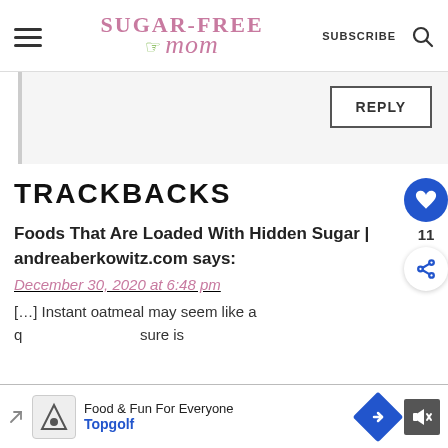Sugar-Free Mom — SUBSCRIBE
REPLY
TRACKBACKS
Foods That Are Loaded With Hidden Sugar | andreaberkowitz.com says:
December 30, 2020 at 6:48 pm
[…] Instant oatmeal may seem like a quick … sure is
[Figure (other): Ad banner: Food & Fun For Everyone — Topgolf]